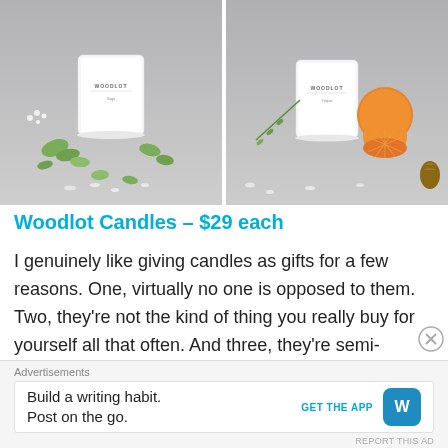[Figure (photo): Two side-by-side product photos of Woodlot branded white candle jars. Left photo shows candle with mint leaves and small white flowers on a grey surface. Right photo shows candle with an orange citrus fruit, rosemary, and pine cones on a grey surface.]
Woodlot Candles – $29 each
I genuinely like giving candles as gifts for a few reasons. One, virtually no one is opposed to them. Two, they're not the kind of thing you really buy for yourself all that often. And three, they're semi-disposable – so even if you're
Advertisements
Build a writing habit. Post on the go. GET THE APP [WordPress icon]